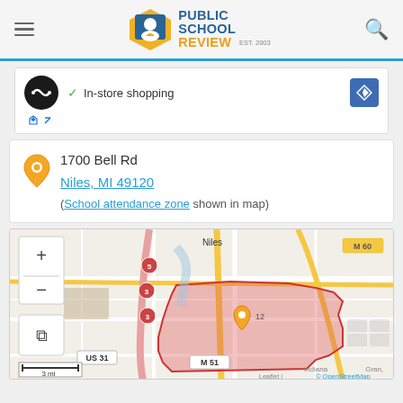Public School Review (EST. 2003)
[Figure (screenshot): Advertisement banner with circular logo, 'In-store shopping' text with checkmark, and navigation arrow button]
1700 Bell Rd
Niles, MI 49120
(School attendance zone shown in map)
[Figure (map): Interactive map showing Niles, MI area with a highlighted school attendance zone (pink/red shaded polygon) centered around 1700 Bell Rd. Map labels include Niles, M 60, US 31, M 51, Indiana, Grand. Scale shows 3 mi. Controls include zoom in/out and fullscreen. Attribution: Leaflet | © OpenStreetMap]